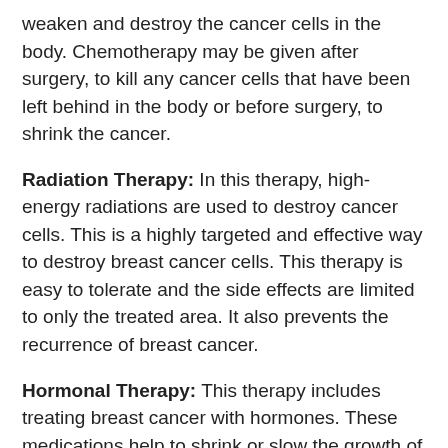weaken and destroy the cancer cells in the body. Chemotherapy may be given after surgery, to kill any cancer cells that have been left behind in the body or before surgery, to shrink the cancer.
Radiation Therapy: In this therapy, high-energy radiations are used to destroy cancer cells. This is a highly targeted and effective way to destroy breast cancer cells. This therapy is easy to tolerate and the side effects are limited to only the treated area. It also prevents the recurrence of breast cancer.
Hormonal Therapy: This therapy includes treating breast cancer with hormones. These medications help to shrink or slow the growth of cancer cells by lowering the levels or blocking the action of the oestrogen hormone on the cancer cells.